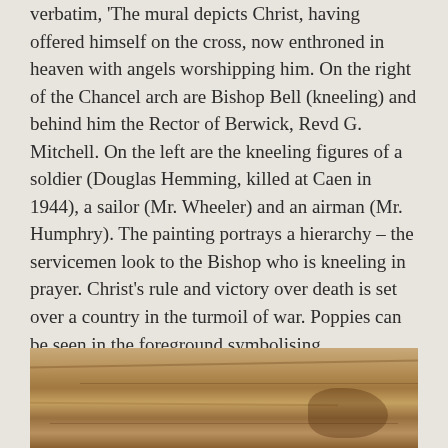verbatim, 'The mural depicts Christ, having offered himself on the cross, now enthroned in heaven with angels worshipping him. On the right of the Chancel arch are Bishop Bell (kneeling) and behind him the Rector of Berwick, Revd G. Mitchell. On the left are the kneeling figures of a soldier (Douglas Hemming, killed at Caen in 1944), a sailor (Mr. Wheeler) and an airman (Mr. Humphry). The painting portrays a hierarchy – the servicemen look to the Bishop who is kneeling in prayer. Christ's rule and victory over death is set over a country in the turmoil of war. Poppies can be seen in the foreground symbolising remembrance and resurrection.  Grant records the landscape and people of wartime England. He also portrays his patrons after the manner of Renaissance murals.'
[Figure (photo): Partial view of a wooden surface or wooden panel, showing wood grain texture with warm brown tones and darker patches.]